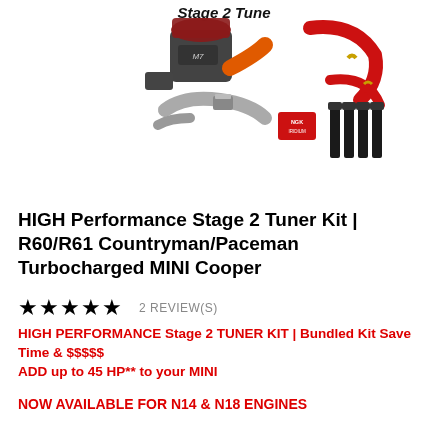[Figure (photo): Product image showing Stage 2 Tune kit components: M7 cold air intake with orange silicone coupler, red silicone boost hoses, downpipe, NGK spark plugs, and ignition coils. Title 'Stage 2 Tune' in italic bold text at top center.]
HIGH Performance Stage 2 Tuner Kit | R60/R61 Countryman/Paceman Turbocharged MINI Cooper
★★★★★  2 REVIEW(S)
HIGH PERFORMANCE Stage 2 TUNER KIT | Bundled Kit Save Time & $$$$$ ADD up to 45 HP** to your MINI
NOW AVAILABLE FOR N14 & N18 ENGINES